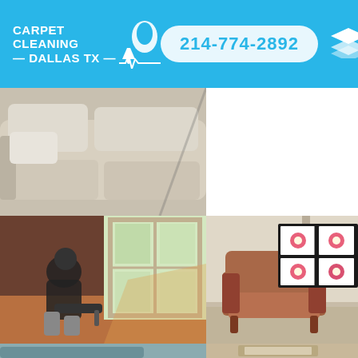[Figure (logo): Carpet Cleaning Dallas TX logo with white text and cleaning icon on blue background]
214-774-2892
[Figure (logo): Layers/stack icon in white on blue background]
[Figure (photo): Close-up of a white/cream sofa or couch cushions]
[Figure (photo): White blank area (no image)]
[Figure (photo): Person kneeling on orange/red carpet near a window, working on carpet cleaning or repair]
[Figure (photo): Brown wingback armchair with a crocheted black and pink floral blanket draped over the back, on beige carpet]
[Figure (photo): Partial view of a green/teal sofa near a window]
[Figure (photo): Partial view of a framed item or furniture piece]